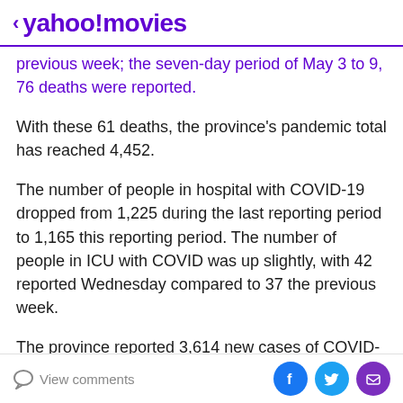< yahoo!movies
previous week; the seven-day period of May 3 to 9, 76 deaths were reported.
With these 61 deaths, the province's pandemic total has reached 4,452.
The number of people in hospital with COVID-19 dropped from 1,225 during the last reporting period to 1,165 this reporting period. The number of people in ICU with COVID was up slightly, with 42 reported Wednesday compared to 37 the previous week.
The province reported 3,614 new cases of COVID-19 over the seven-day period, an average of about 516 per day. The new cases only include those who test positive on a
View comments